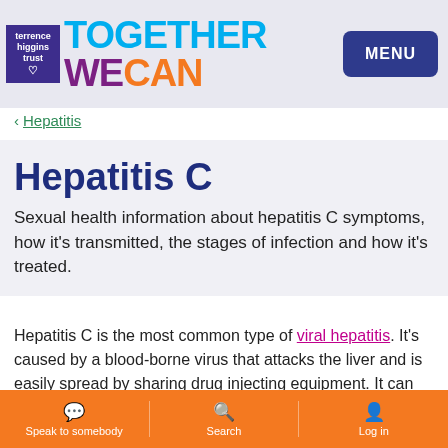[Figure (logo): Terrence Higgins Trust logo with 'Together We Can' tagline and MENU button]
< Hepatitis
Hepatitis C
Sexual health information about hepatitis C symptoms, how it's transmitted, the stages of infection and how it's treated.
Hepatitis C is the most common type of viral hepatitis. It's caused by a blood-borne virus that attacks the liver and is easily spread by sharing drug injecting equipment. It can also
Speak to somebody | Search | Log in